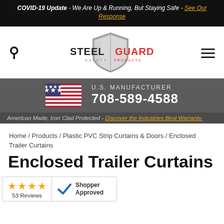COVID-19 Update - We Are Up & Running, But Staying Safe - See Our Response
[Figure (logo): SteelGuard Safety Products shield logo with company name]
[Figure (infographic): US flag with U.S. Manufacturer label and phone number 708-589-4588]
American Made, Iron Clad Protected - Discover the Industries Best Warranty.
Home / Products / Plastic PVC Strip Curtains & Doors / Enclosed Trailer Curtains
Enclosed Trailer Curtains
[Figure (other): Shopper Approved rating badge: 4 stars, 53 Reviews, Shopper Approved logo]